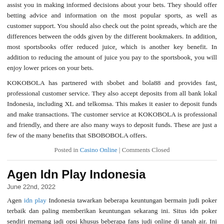assist you in making informed decisions about your bets. They should offer betting advice and information on the most popular sports, as well as customer support. You should also check out the point spreads, which are the differences between the odds given by the different bookmakers. In addition, most sportsbooks offer reduced juice, which is another key benefit. In addition to reducing the amount of juice you pay to the sportsbook, you will enjoy lower prices on your bets.
KOKOBOLA has partnered with sbobet and bola88 and provides fast, professional customer service. They also accept deposits from all bank lokal Indonesia, including XL and telkomsa. This makes it easier to deposit funds and make transactions. The customer service at KOKOBOLA is professional and friendly, and there are also many ways to deposit funds. These are just a few of the many benefits that SBOBOBOLA offers.
Posted in Casino Online | Comments Closed
Agen Idn Play Indonesia
June 22nd, 2022
Agen idn play Indonesia tawarkan beberapa keuntungan bermain judi poker terbaik dan paling memberikan keuntungan sekarang ini. Situs idn poker sendiri memang jadi opsi khusus beberapa fans judi online di tanah air. Ini heran kembali bila menyaksikan reputasi agen idn play Indonesia sebagai penyedia judi kartu terbaik. Dapat disebutkan dari beragam pemikiran seperti permainan sampai keuntungan yang dijajakan. Agen idn poker Indonesia bisa dibuktikan paling menguntungkan dan menjanjikan untuk seluruh